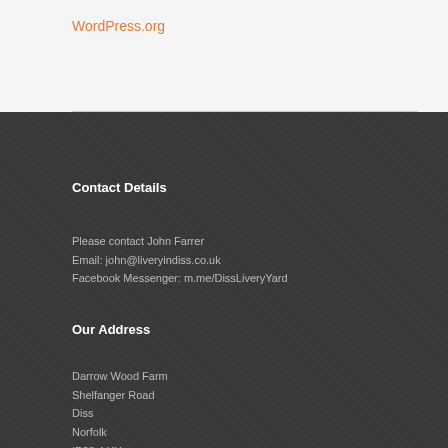WordPress.org
Contact Details
Please contact John Farrer
Email: john@liveryindiss.co.uk
Facebook Messenger: m.me/DissLiveryYard
Our Address
Darrow Wood Farm
Shelfanger Road
Diss
Norfolk
IP22 4 XY